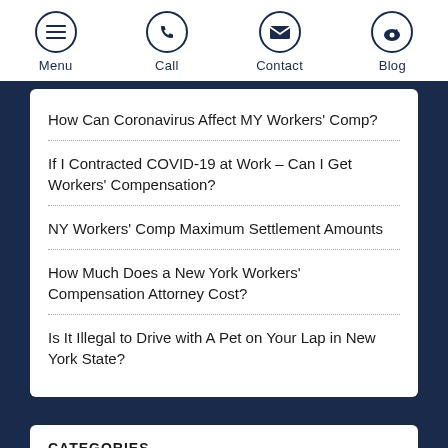Menu | Call | Contact | Blog
How Can Coronavirus Affect MY Workers' Comp?
If I Contracted COVID-19 at Work – Can I Get Workers' Compensation?
NY Workers' Comp Maximum Settlement Amounts
How Much Does a New York Workers' Compensation Attorney Cost?
Is It Illegal to Drive with A Pet on Your Lap in New York State?
CATEGORIES